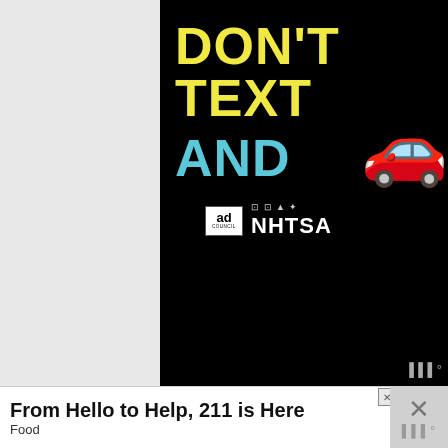[Figure (infographic): Black background public service announcement poster by Ad Council and NHTSA. Large yellow bold text reads 'DON'T TEXT', large teal/cyan bold text reads 'AND', followed by a red car emoji. At the bottom are the Ad Council logo and NHTSA logo.]
Practice on a walk or when you're driving the kids home for school.
All is takes is a question: Can you start at 3 and count to 10?
[Figure (infographic): Bottom advertisement banner: 'From Hello to Help, 211 is Here' with subtitle 'Food', with a close button (X) and a dismiss icon on the right side.]